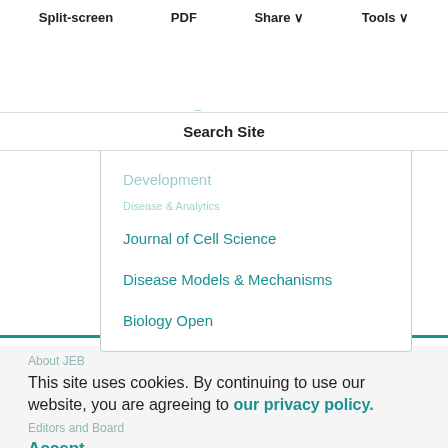Split-screen   PDF   Share   Tools
Other journals from The Company of Biologists
Search Site
Development
Disease & Analytics
Journal of Cell Science
Disease Models & Mechanisms
Biology Open
About JEB
This site uses cookies. By continuing to use our website, you are agreeing to our privacy policy.
Editors and Board
Accept
Aims and scope
Submit a manuscript